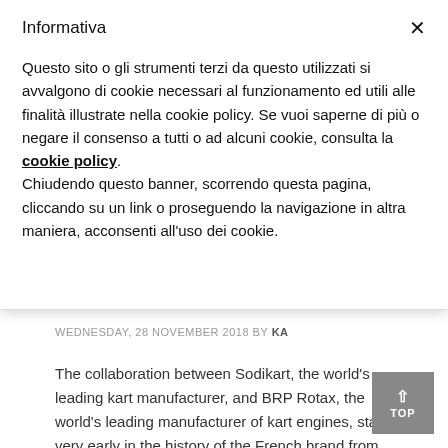Informativa
Questo sito o gli strumenti terzi da questo utilizzati si avvalgono di cookie necessari al funzionamento ed utili alle finalità illustrate nella cookie policy. Se vuoi saperne di più o negare il consenso a tutti o ad alcuni cookie, consulta la cookie policy. Chiudendo questo banner, scorrendo questa pagina, cliccando su un link o proseguendo la navigazione in altra maniera, acconsenti all'uso dei cookie.
FINALE IN BRASILE
WEDNESDAY, 28 NOVEMBER 2018 BY KA
The collaboration between Sodikart, the world's leading kart manufacturer, and BRP Rotax, the world's leading manufacturer of kart engines, started very early in the history of the French brand from 1988 onwards. From 1999, Sodi started to organise the Rotax Challenge France with